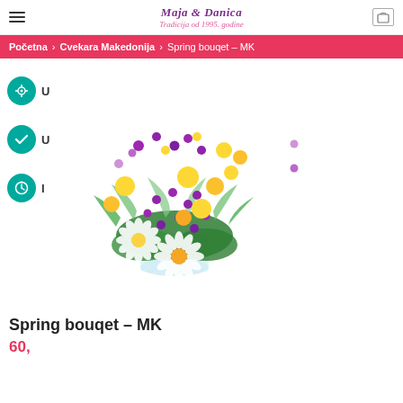Tradicija od 1995. godine
Početna > Cvekara Makedonija > Spring bouqet – MK
[Figure (photo): A spring flower bouquet in a glass vase, containing white gerbera daisies, purple/magenta asters, yellow chrysanthemums, and green feathery foliage.]
Spring bouqet – MK